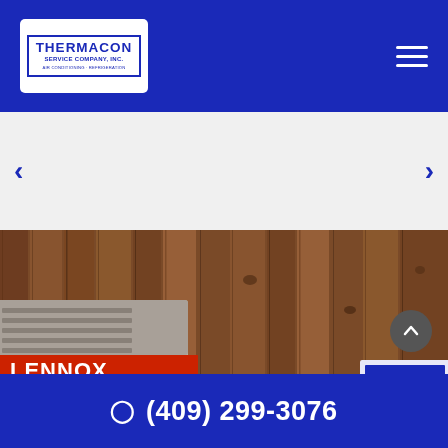[Figure (logo): Thermacon Service Company, Inc. logo — white rectangular logo with blue border and blue text reading THERMACON SERVICE COMPANY, INC. AIR CONDITIONING · REFRIGERATION]
[Figure (screenshot): Website screenshot showing Thermacon Service Company page with navigation bar, slider arrows, Lennox AC unit photo against wood background, scroll-up button, and phone number footer]
(409) 299-3076